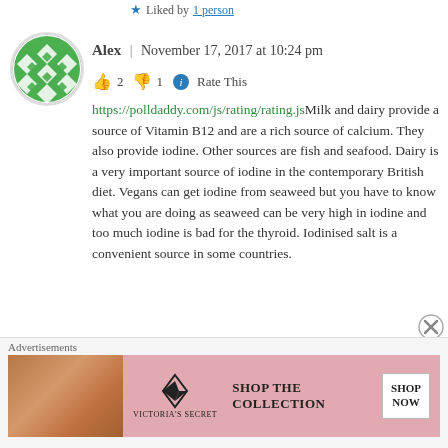Liked by 1 person
Alex | November 17, 2017 at 10:24 pm
👍 2 👎 1 ℹ Rate This
https://polldaddy.com/js/rating/rating.jsMilk and dairy provide a source of Vitamin B12 and are a rich source of calcium. They also provide iodine. Other sources are fish and seafood. Dairy is a very important source of iodine in the contemporary British diet. Vegans can get iodine from seaweed but you have to know what you are doing as seaweed can be very high in iodine and too much iodine is bad for the thyroid. Iodinised salt is a convenient source in some countries.
Advertisements
[Figure (other): Victoria's Secret advertisement banner: SHOP THE COLLECTION SHOP NOW]